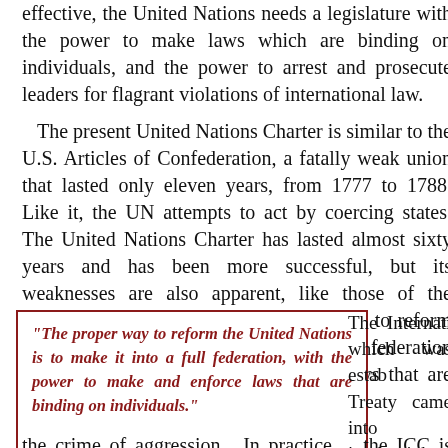effective, the United Nations needs a legislature with the power to make laws which are binding on individuals, and the power to arrest and prosecute leaders for flagrant violations of international law.
The present United Nations Charter is similar to the U.S. Articles of Confederation, a fatally weak union that lasted only eleven years, from 1777 to 1788. Like it, the UN attempts to act by coercing states. The United Nations Charter has lasted almost sixty years and has been more successful, but its weaknesses are also apparent, like those of the Articles of Confederation, the proper way to reform the United Nations is to make it into a full federation with the power to make and enforce laws that are binding on individuals.
"The proper way to reform the United Nations is to make it into a full federation, with the power to make and enforce laws that are binding on individuals."
The International... which was established... Treaty came into... in the right... jurisdiction extend... genocide, crimes... crimes, and (at s...
the crime of aggression. In practice, the ICC is open to...